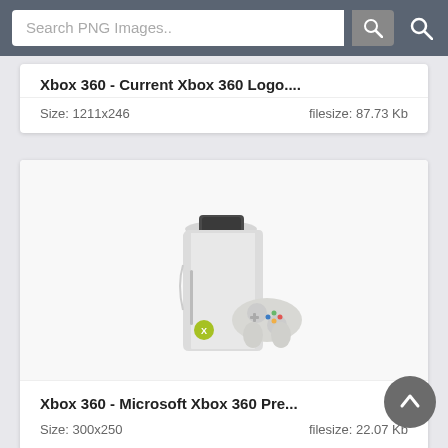Search PNG Images..
Xbox 360 - Current Xbox 360 Logo....
Size: 1211x246   filesize: 87.73 Kb
[Figure (photo): Xbox 360 console (white) standing vertically with a white wireless controller in front]
Xbox 360 - Microsoft Xbox 360 Pre...
Size: 300x250   filesize: 22.07 Kb
[Figure (photo): Partial view of Xbox 360 console, partially visible at bottom of page]